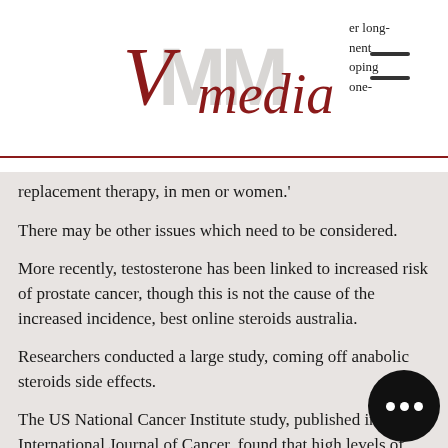VMedia [logo with hamburger menu]
replacement therapy, in men or women.'
There may be other issues which need to be considered.
More recently, testosterone has been linked to increased risk of prostate cancer, though this is not the cause of the increased incidence, best online steroids australia.
Researchers conducted a large study, coming off anabolic steroids side effects.
The US National Cancer Institute study, published in the International Journal of Cancer, found that high levels of anabolic androgenic steroids (also known as AAS) are associated with a higher risks of heart